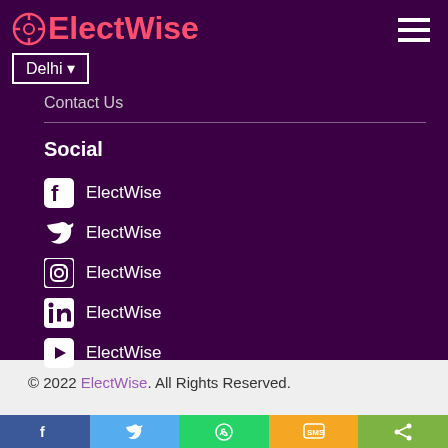[Figure (logo): ElectWise logo with circular icon and pink/red text on dark purple background]
Delhi ▾
Contact Us
Social
ElectWise (Facebook)
ElectWise (Twitter)
ElectWise (Instagram)
ElectWise (LinkedIn)
ElectWise (YouTube)
© 2022 ElectWise. All Rights Reserved.